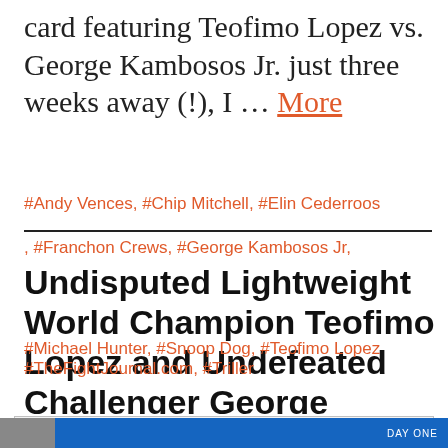card featuring Teofimo Lopez vs. George Kambosos Jr. just three weeks away (!), I … More
#Andy Vences, #Chip Mitchell, #Elin Cederroos
, #Franchon Crews, #George Kambosos Jr,
Undisputed Lightweight World Champion Teofimo Lopez and Undefeated Challenger George Kambosos Jr. to Host Media
#Michael Hunter, #Snoop Dog, #Teofimo Lopez
#TheFightJournal.com, #Triller
Privacy & Cookies: This site uses cookies. By continuing to use this website, you agree to their use.
To find out more, including how to control cookies, see here:
Cookie Policy
Close and accept